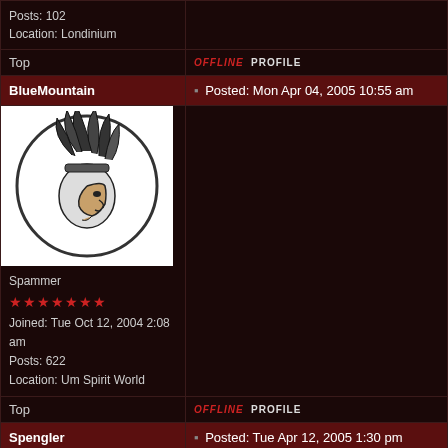Posts: 102
Location: Londinium
Top | OFFLINE PROFILE
BlueMountain | Posted: Mon Apr 04, 2005 10:55 am
[Figure (illustration): Avatar image of a Native American chief profile in black and white circle]
Spammer
Joined: Tue Oct 12, 2004 2:08 am
Posts: 622
Location: Um Spirit World
Top | OFFLINE PROFILE
Spengler | Posted: Tue Apr 12, 2005 1:30 pm
Low Tolerance
Joined: Tue Apr 12, 2005 1:13 pm
Posts: 190
Location: Goruguay
I went there for the first time a couple of Fridays back and w...